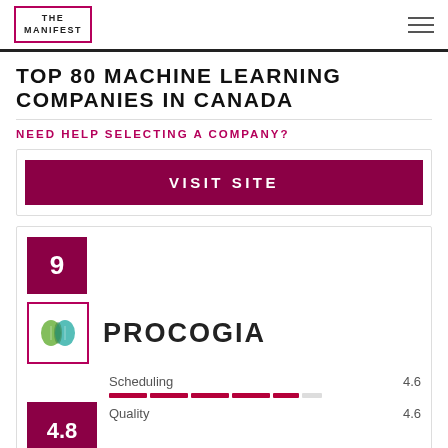THE MANIFEST
TOP 80 MACHINE LEARNING COMPANIES IN CANADA
NEED HELP SELECTING A COMPANY?
VISIT SITE
9
PROCOGIA
| Category | Score |
| --- | --- |
| Scheduling | 4.6 |
| Quality | 4.6 |
4.8